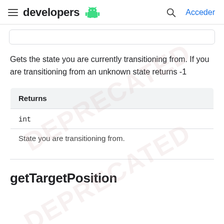developers | Acceder
Gets the state you are currently transitioning from. If you are transitioning from an unknown state returns -1
| Returns |
| --- |
| int |
| State you are transitioning from. |
getTargetPosition